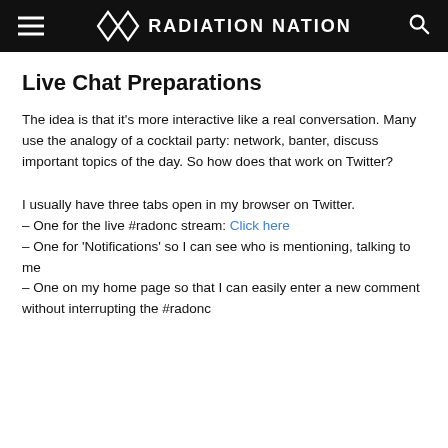RADIATION NATION
Live Chat Preparations
The idea is that it's more interactive like a real conversation. Many use the analogy of a cocktail party: network, banter, discuss important topics of the day. So how does that work on Twitter?
I usually have three tabs open in my browser on Twitter.
– One for the live #radonc stream: Click here
– One for 'Notifications' so I can see who is mentioning, talking to me
– One on my home page so that I can easily enter a new comment without interrupting the #radonc